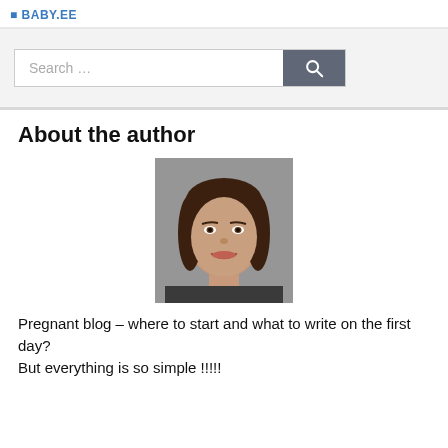BABY.EE
[Figure (other): Website search bar with text field showing 'Search ...' placeholder and a dark grey search button with magnifying glass icon]
About the author
[Figure (photo): Headshot photo of a young woman with long dark brown hair, smiling, against a grey background]
Pregnant blog – where to start and what to write on the first day?
But everything is so simple !!!!!